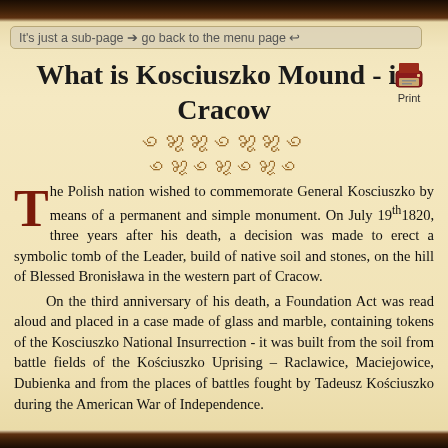It's just a sub-page → go back to the menu page ↩
What is Kosciuszko Mound - in Cracow
[Figure (other): Print button icon with printer symbol]
[Figure (other): Decorative ornamental divider in golden/brown color]
The Polish nation wished to commemorate General Kosciuszko by means of a permanent and simple monument. On July 19th 1820, three years after his death, a decision was made to erect a symbolic tomb of the Leader, build of native soil and stones, on the hill of Blessed Bronisława in the western part of Cracow.
On the third anniversary of his death, a Foundation Act was read aloud and placed in a case made of glass and marble, containing tokens of the Kosciuszko National Insurrection - it was built from the soil from battle fields of the Kościuszko Uprising – Raclawice, Maciejowice, Dubienka and from the places of battles fought by Tadeusz Kościuszko during the American War of Independence.